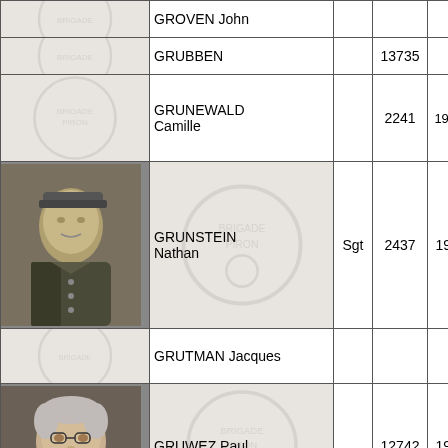| Photo | Name | Rank | Number | Year | Unit |
| --- | --- | --- | --- | --- | --- |
|  | GROVEN John |  |  |  | 3 B... |
|  | GRUBBEN |  | 13735 |  | 3 B... |
|  | GRUNEWALD Camille |  | 2241 | 1922- | 1 M... 2 B... (Dr...) |
| [photo] | GRUNSTEIN Nathan | Sgt | 2437 | 1905 | Arti... Bat... |
|  | GRUTMAN Jacques |  |  |  | Aie... Q B... |
| [photo] | GRUWEZ Paul |  | 12742 | 1924 | Arti... Rgt... |